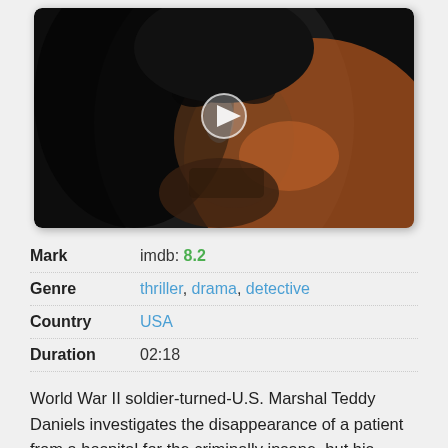[Figure (photo): Movie thumbnail showing a close-up of a man's face in dark, dramatic lighting with a play button overlay. The face is partially lit with orange/warm tones on one side against a dark background.]
| Mark | imdb: 8.2 |
| Genre | thriller, drama, detective |
| Country | USA |
| Duration | 02:18 |
World War II soldier-turned-U.S. Marshal Teddy Daniels investigates the disappearance of a patient from a hospital for the criminally insane, but his efforts are compromised by his troubling visions and also by a mysterious doctor.